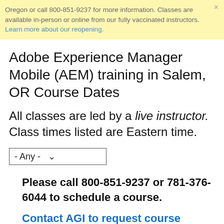Oregon or call 800-851-9237 for more information. Classes are available in-person or online from our fully vaccinated instructors. Learn more about our reopening.
Adobe Experience Manager Mobile (AEM) training in Salem, OR Course Dates
All classes are led by a live instructor. Class times listed are Eastern time.
- Any -
Please call 800-851-9237 or 781-376-6044 to schedule a course.
Contact AGI to request course dates.